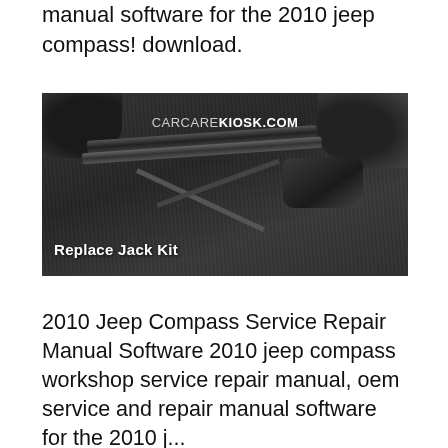manual software for the 2010 jeep compass! download.
[Figure (photo): Photo of a car jack kit being handled by gloved hands on a dark mat surface. The image has a watermark reading CARCAREKIOSK.COM and a label at the bottom reading 'Replace Jack Kit'.]
2010 Jeep Compass Service Repair Manual Software 2010 jeep compass workshop service repair manual, oem service and repair manual software for the 2010 jeep compass! Txt[How To...